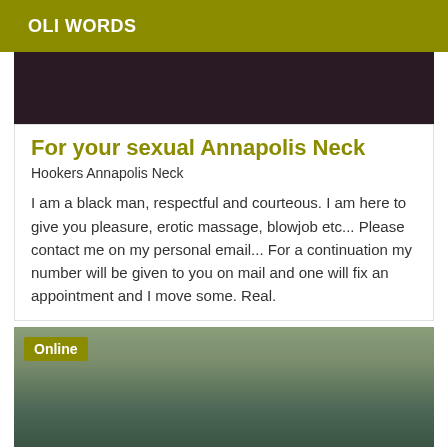OLI WORDS
[Figure (photo): Dark brownish-purple image at top of card]
For your sexual Annapolis Neck
Hookers Annapolis Neck
I am a black man, respectful and courteous. I am here to give you pleasure, erotic massage, blowjob etc... Please contact me on my personal email... For a continuation my number will be given to you on mail and one will fix an appointment and I move some. Real.
[Figure (photo): Photo of a floral patterned sofa/couch with teal cushions and a plant in the background. Has an 'Online' badge in the top left corner.]